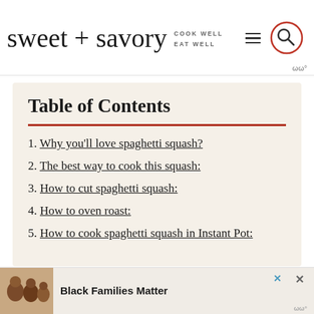sweet + savory  COOK WELL EAT WELL
Table of Contents
1. Why you’ll love spaghetti squash?
2. The best way to cook this squash:
3. How to cut spaghetti squash:
4. How to oven roast:
5. How to cook spaghetti squash in Instant Pot:
[Figure (screenshot): Ad banner with photo of smiling family and text 'Black Families Matter']